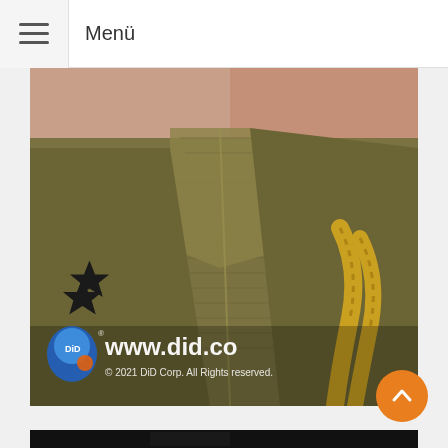Menü
[Figure (photo): Close-up photo of a military uniform/action figure collar area showing olive drab fabric, black star rank insignia, yellow braided cord/aiguillette, with www.did.co watermark and © 2021 DiD Corp. All Rights reserved.]
[Figure (photo): Partially visible second product photo with dark background]